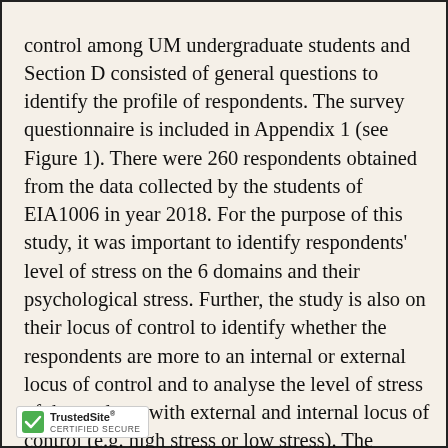control among UM undergraduate students and Section D consisted of general questions to identify the profile of respondents. The survey questionnaire is included in Appendix 1 (see Figure 1). There were 260 respondents obtained from the data collected by the students of EIA1006 in year 2018. For the purpose of this study, it was important to identify respondents' level of stress on the 6 domains and their psychological stress. Further, the study is also on their locus of control to identify whether the respondents are more to an internal or external locus of control and to analyse the level of stress of the students with external and internal locus of control (e.g. high stress or low stress). The ll be provided and discussed in the